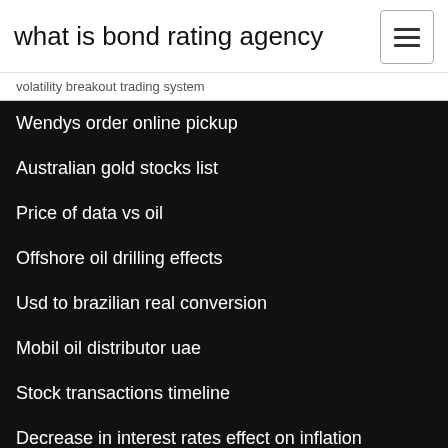what is bond rating agency
volatility breakout trading system
Wendys order online pickup
Australian gold stocks list
Price of data vs oil
Offshore oil drilling effects
Usd to brazilian real conversion
Mobil oil distributor uae
Stock transactions timeline
Decrease in interest rates effect on inflation
Quick loans like speedy cash
Cad rmb fx